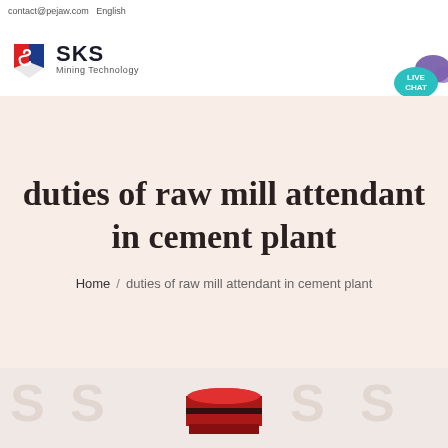contact@pejaw.com   English
[Figure (logo): SKS Mining Technology company logo with red and blue shield icon]
[Figure (illustration): Live Chat button with speech bubble icon in teal/purple]
duties of raw mill attendant in cement plant
Home / duties of raw mill attendant in cement plant
[Figure (photo): Bottom section showing a red industrial equipment/machinery part with SKS watermark letters in background]